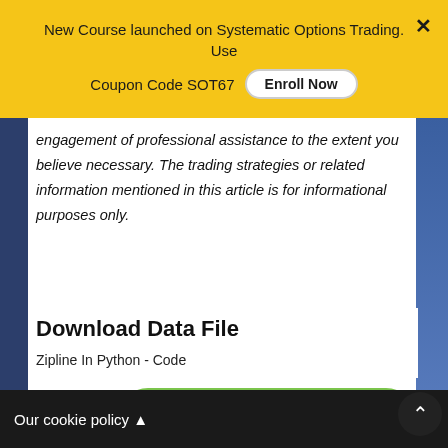New Course launched on Systematic Options Trading. Use Coupon Code SOT67  Enroll Now
engagement of professional assistance to the extent you believe necessary. The trading strategies or related information mentioned in this article is for informational purposes only.
Download Data File
Zipline In Python - Code
Our cookie policy ▲  in to Download